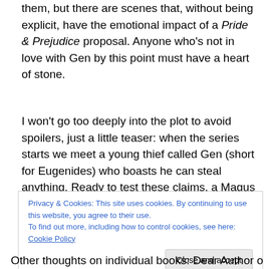them, but there are scenes that, without being explicit, have the emotional impact of a Pride & Prejudice proposal. Anyone who's not in love with Gen by this point must have a heart of stone.
I won't go too deeply into the plot to avoid spoilers, just a little teaser: when the series starts we meet a young thief called Gen (short for Eugenides) who boasts he can steal anything. Ready to test these claims, a Magus challenges him to steal an object that can change the precarious balance of the region's three kingdoms…
Privacy & Cookies: This site uses cookies. By continuing to use this website, you agree to their use. To find out more, including how to control cookies, see here: Cookie Policy
Other thoughts on individual books: Dear Author on #1, #2